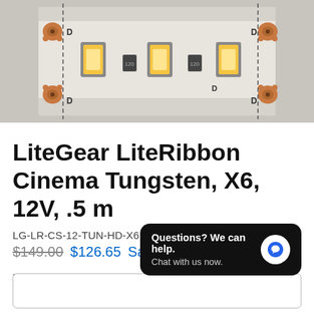[Figure (photo): Close-up photo of an LED strip (LiteRibbon) showing warm white LED chips mounted on a flexible PCB with copper pads and cut marks labeled D]
LiteGear LiteRibbon Cinema Tungsten, X6, 12V, .5 m
LG-LR-CS-12-TUN-HD-X6
$149.00  $126.65 Sale
Pay in 4 interest-free installments of $31.66 with
shop Pay  Learn
[Figure (screenshot): Chat popup overlay: 'Questions? We can help. Chat with us now.' with a blue chat bubble icon on dark background]